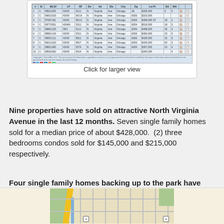[Figure (screenshot): Screenshot of a property data table showing sold properties on North Virginia Avenue, Chicago with columns for address, price, beds, baths, and other details]
Click for larger view
Nine properties have sold on attractive North Virginia Avenue in the last 12 months. Seven single family homes sold for a median price of about $428,000. (2) three bedrooms condos sold for $145,000 and $215,000 respectively.
Four single family homes backing up to the park have sold during that time. Of these four the lowest priced home near the end of the park at 5918 N Virginia Ave , Chicago, Illinois 60659 sold as a foreclosure for $294,000. The highest sale was 5524 N Virginia Ave , Chicago, Illinois 60625 for $590,000.
[Figure (map): Street map showing North Virginia Avenue area in Chicago with roads and green spaces visible]